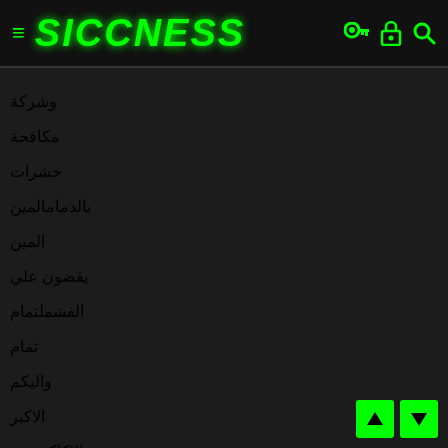SICCNESS
&#1608;&#1588;&#1585;&#1603;&#1577; &#1605;&#1603;&#1575;&#1601;&#1581;&#1577; &#1581;&#1588;&#1585;&#1575;&#1578; &#1576;&#1575;&#1604;&#1583;&#1605;&#1575;&#1605; &#1575;&#1604;&#1605;&#1610;&#1606; &#1610;&#1602;&#1590;&#1608;&#1606; &#1593;&#1604;&#1610; &#1575;&#1604;&#1601;&#1588;&#1605;&#1604;&#1578;&#1605;&#1575;&#1605; &#1608;&#1575;&#1604;&#1610;&#1603;&#1605; &#1575;&#1604;&#1575;&#1603;&#1576;&#1585; &#1605;&#1606; &#1582;&#1604;&#1575;&#1604; &#1604;&#1604;&#1602;&#1590;&#1575;&#1569; &#1593;&#1604;&#1610; &#1575;&#1604;&#1605;&#1610;&#1575;&#1607; &#1576;&#1575;&#1604;&#1583;&#1605;&#1575;&#1605; &#1604;&#1604;&#1604;&#1602;&#1590;&#1575;&#1569; &#1593;&#1604;&#1610;&#1607;